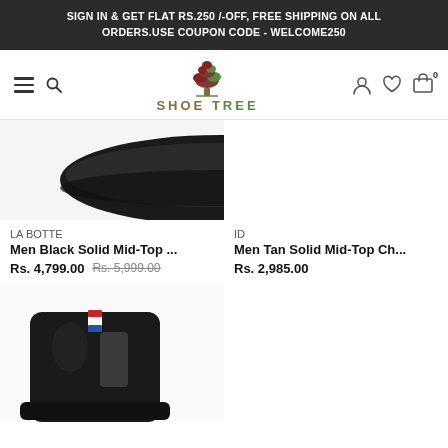SIGN IN & GET FLAT RS.250 /-OFF, FREE SHIPPING ON ALL ORDERS.USE COUPON CODE - WELCOME250
[Figure (logo): Shoe Tree logo with tree illustration, hamburger menu, search icon, user icon, heart icon, and cart icon showing 0 items]
[Figure (photo): Partial view of black mid-top shoe sole from above, left product card]
LA BOTTE
Men Black Solid Mid-Top ...
Rs. 4,799.00 Rs. 5,999.00
ID
Men Tan Solid Mid-Top Ch...
Rs. 2,985.00
[Figure (photo): Black leather chelsea boot with red and blue tab visible, partially shown at bottom of page]